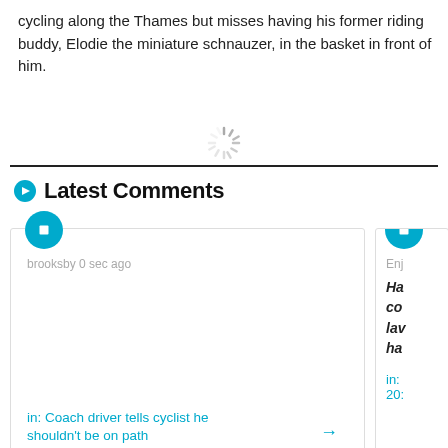cycling along the Thames but misses having his former riding buddy, Elodie the miniature schnauzer, in the basket in front of him.
[Figure (other): Loading spinner icon]
Latest Comments
brooksby 0 sec ago
in: Coach driver tells cyclist he shouldn't be on path
Enj Ha co lav ha in: 20: